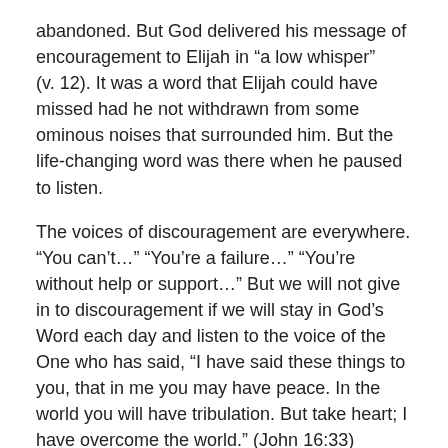abandoned. But God delivered his message of encouragement to Elijah in “a low whisper” (v. 12). It was a word that Elijah could have missed had he not withdrawn from some ominous noises that surrounded him. But the life-changing word was there when he paused to listen.
The voices of discouragement are everywhere. “You can’t…” “You’re a failure…” “You’re without help or support…” But we will not give in to discouragement if we will stay in God’s Word each day and listen to the voice of the One who has said, “I have said these things to you, that in me you may have peace. In the world you will have tribulation. But take heart; I have overcome the world.” (John 16:33)
Be Encouraged!
Pastor Rod